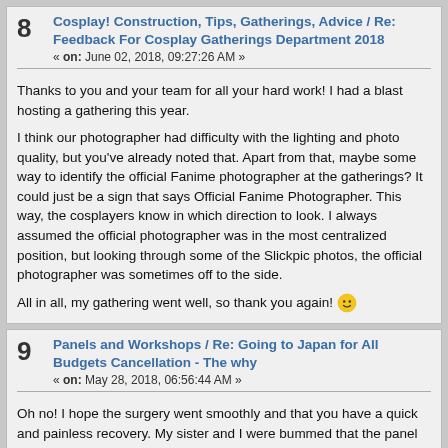8 Cosplay! Construction, Tips, Gatherings, Advice / Re: Feedback For Cosplay Gatherings Department 2018
« on: June 02, 2018, 09:27:26 AM »
Thanks to you and your team for all your hard work! I had a blast hosting a gathering this year.

I think our photographer had difficulty with the lighting and photo quality, but you've already noted that. Apart from that, maybe some way to identify the official Fanime photographer at the gatherings? It could just be a sign that says Official Fanime Photographer. This way, the cosplayers know in which direction to look. I always assumed the official photographer was in the most centralized position, but looking through some of the Slickpic photos, the official photographer was sometimes off to the side.

All in all, my gathering went well, so thank you again! 🙂
9 Panels and Workshops / Re: Going to Japan for All Budgets Cancellation - The why
« on: May 28, 2018, 06:56:44 AM »
Oh no! I hope the surgery went smoothly and that you have a quick and painless recovery. My sister and I were bummed that the panel was canceled, but your health is much more important!
10 Cosplay! Construction, Tips, Gatherings, Advice / Re: Yu-Gi-Oh! Gathering 2018